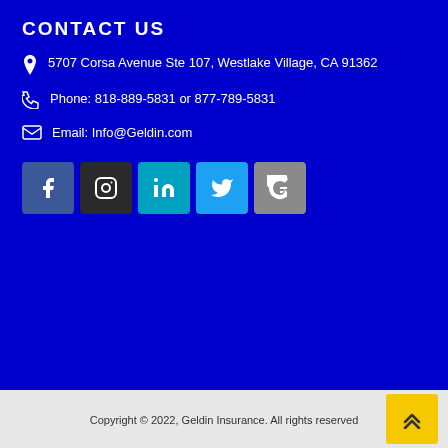CONTACT US
5707 Corsa Avenue Ste 107, Westlake Village, CA 91362
Phone: 818-889-5831 or 877-789-5831
Email: Info@Geldin.com
[Figure (infographic): Row of social media icons: Facebook, Instagram, LinkedIn, Twitter, Google]
Copyright © 2022, Geldin Insurance. All rights reserved